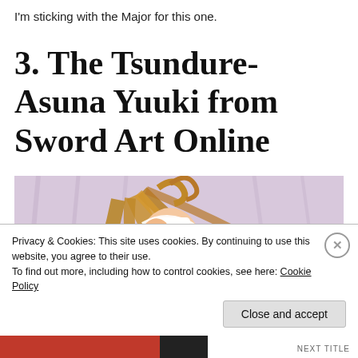I'm sticking with the Major for this one.
3. The Tsundure-Asuna Yuuki from Sword Art Online
[Figure (illustration): Anime illustration of Asuna Yuuki from Sword Art Online, a female character with long flowing brown hair wearing white clothing, lying down holding a sword with a red handle, on a light purple background.]
Privacy & Cookies: This site uses cookies. By continuing to use this website, you agree to their use.
To find out more, including how to control cookies, see here: Cookie Policy
Close and accept